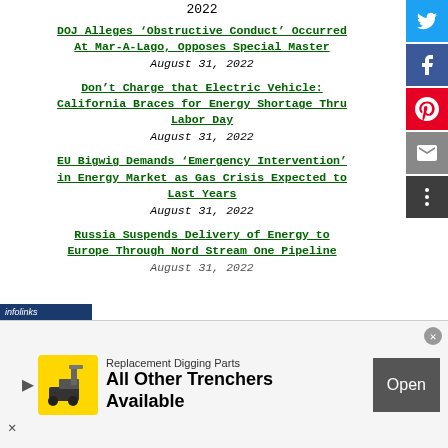2022
DOJ Alleges ‘Obstructive Conduct’ Occurred At Mar-A-Lago, Opposes Special Master August 31, 2022
Don’t Charge that Electric Vehicle: California Braces for Energy Shortage Through Labor Day August 31, 2022
EU Bigwig Demands ‘Emergency Intervention’ in Energy Market as Gas Crisis Expected to Last Years August 31, 2022
Russia Suspends Delivery of Energy to Europe Through Nord Stream One Pipeline August 31, 2022
[Figure (screenshot): Advertisement banner: Replacement Digging Parts - All Other Trenchers Available, with Open button]